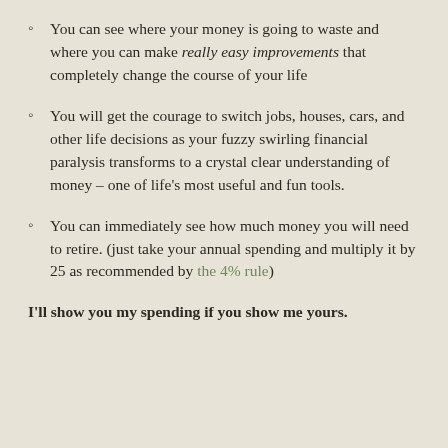You can see where your money is going to waste and where you can make really easy improvements that completely change the course of your life
You will get the courage to switch jobs, houses, cars, and other life decisions as your fuzzy swirling financial paralysis transforms to a crystal clear understanding of money – one of life's most useful and fun tools.
You can immediately see how much money you will need to retire. (just take your annual spending and multiply it by 25 as recommended by the 4% rule)
I'll show you my spending if you show me yours.